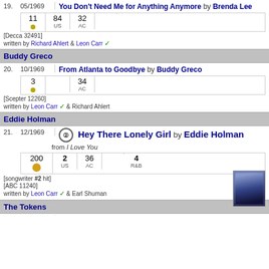| # | Date | Song/Artist | Chart positions |
| --- | --- | --- | --- |
| 19. | 05/1969 | You Don't Need Me for Anything Anymore by Brenda Lee | 11, 84 US, 32 AC |
|  |  | [Decca 32491] written by Richard Ahlert & Leon Carr |  |
| 20. | 10/1969 | From Atlanta to Goodbye by Buddy Greco | 3, 34 AC |
|  |  | [Scepter 12260] written by Leon Carr & Richard Ahlert |  |
| 21. | 12/1969 | ② Hey There Lonely Girl by Eddie Holman from I Love You | 200, 2 US, 36 AC, 4 R&B |
|  |  | [songwriter #2 hit] [ABC 11240] written by Leon Carr & Earl Shuman |  |
Buddy Greco
Eddie Holman
The Tokens